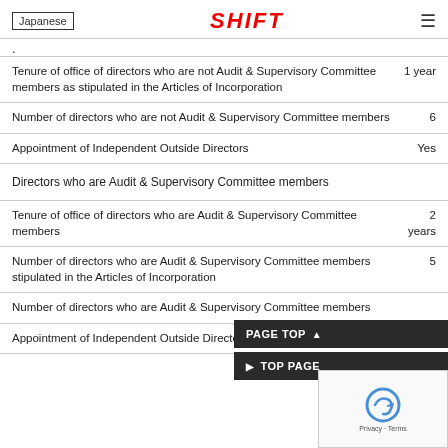Japanese | SHIFT
.
| Item | Value |
| --- | --- |
| Tenure of office of directors who are not Audit & Supervisory Committee members as stipulated in the Articles of Incorporation | 1 year |
| Number of directors who are not Audit & Supervisory Committee members | 6 |
| Appointment of Independent Outside Directors | Yes |
| Directors who are Audit & Supervisory Committee members |  |
| Tenure of office of directors who are Audit & Supervisory Committee members | 2 years |
| Number of directors who are Audit & Supervisory Committee members stipulated in the Articles of Incorporation | 5 |
| Number of directors who are Audit & Supervisory Committee members |  |
| Appointment of Independent Outside Directors who are | Yes |